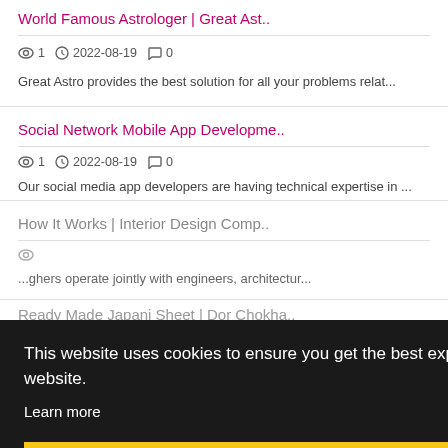World Famous Astrologer | Great Ast..
1  2022-08-19  0
Great Astro provides the best solution for all your problems relat...
Social Network Mobile App Developme..
1  2022-08-19  0
Our social media app developers are having technical expertise in ...
How It Works | Interior Design Comp..
...ghers operate jointly with engineers, architectur...
Ready Made Japani Sheet | Dor Chokha..
1  2022-08-18  0
This website uses cookies to ensure you get the best experience on our website. Learn more
Got it!